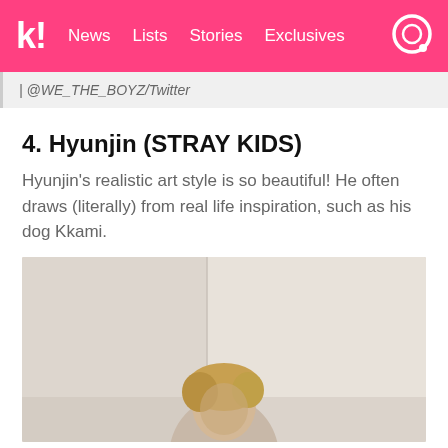k! News Lists Stories Exclusives
| @WE_THE_BOYZ/Twitter
4. Hyunjin (STRAY KIDS)
Hyunjin's realistic art style is so beautiful! He often draws (literally) from real life inspiration, such as his dog Kkami.
[Figure (photo): Photo of Hyunjin (STRAY KIDS), a young man with blonde hair in a light-colored room]